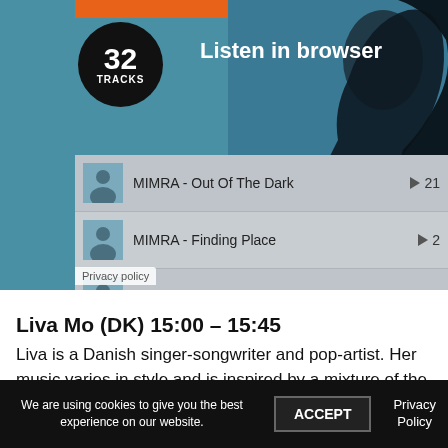[Figure (screenshot): Music player widget showing 32 TRACKS badge and Listen in browser button on a blue/teal background with dark artistic figure]
MIMRA - Out Of The Dark  ▶ 21
MIMRA - Finding Place  ▶ 2
MIMRA - Opus  ▶ 5
MIMRA - Easy To Choose  ▶ 2
Privacy policy
Liva Mo (DK) 15:00 – 15:45
Liva is a Danish singer-songwriter and pop-artist. Her music varies in style and is inspired by a mixture of the singer-songwriter tradition, alternative pop, folk, electronica, baroque-music
We are using cookies to give you the best experience on our website.
ACCEPT
Privacy Policy